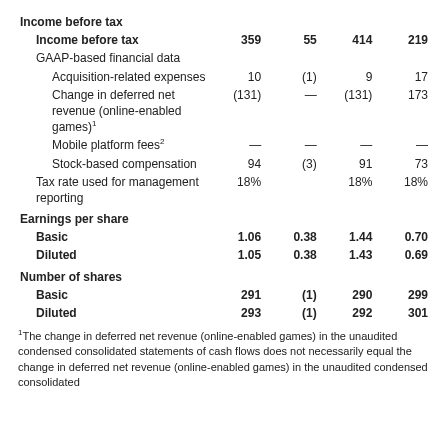|  |  |  |  |  |
| --- | --- | --- | --- | --- |
| Income before tax |  |  |  |  |
| Income before tax | 359 | 55 | 414 | 219 |
| GAAP-based financial data |  |  |  |  |
| Acquisition-related expenses | 10 | (1) | 9 | 17 |
| Change in deferred net revenue (online-enabled games)¹ | (131) | — | (131) | 173 |
| Mobile platform fees² | — | — | — | — |
| Stock-based compensation | 94 | (3) | 91 | 73 |
| Tax rate used for management reporting | 18% |  | 18% | 18% |
| Earnings per share |  |  |  |  |
| Basic | 1.06 | 0.38 | 1.44 | 0.70 |
| Diluted | 1.05 | 0.38 | 1.43 | 0.69 |
| Number of shares |  |  |  |  |
| Basic | 291 | (1) | 290 | 299 |
| Diluted | 293 | (1) | 292 | 301 |
¹The change in deferred net revenue (online-enabled games) in the unaudited condensed consolidated statements of cash flows does not necessarily equal the change in deferred net revenue (online-enabled games) in the unaudited condensed consolidated